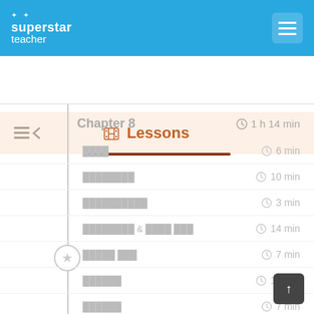superstar teacher
Lessons
Chapter 8   1 h 14 min
████  6 min
████████  10 min
██████████  3 min
████████ & ████ ███  14 min
█████ ███  7 min
██████  10 min
██████  7 min
██ ███  6 min
██████████████  7 min